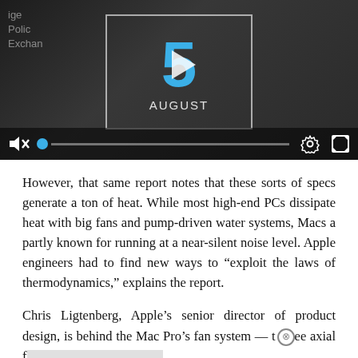[Figure (screenshot): Video player screenshot showing a dark overlay with the number '5' in blue and a play button triangle, 'AUGUST' text below, video controls bar at the bottom with mute icon, blue progress dot, progress bar, gear icon, and expand icon. Background shows blurred people in a crowd.]
However, that same report notes that these sorts of specs generate a ton of heat. While most high-end PCs dissipate heat with big fans and pump-driven water systems, Macs a partly known for running at a near-silent noise level. Apple engineers had to find new ways to “exploit the laws of thermodynamics,” explains the report.
Chris Ligtenberg, Apple’s senior director of product design, is behind the Mac Pro’s fan system — t⊗ee axial f—— ——— —————, ———— — —————— —— ——— ———
“Years… he